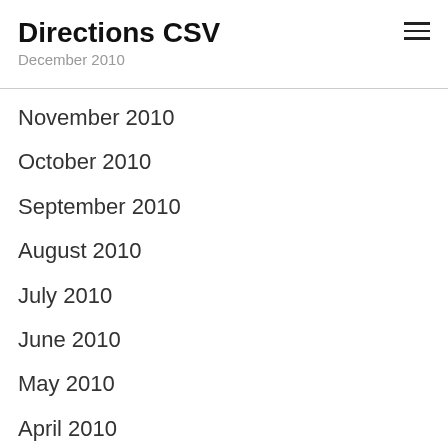Directions CSV
December 2010
November 2010
October 2010
September 2010
August 2010
July 2010
June 2010
May 2010
April 2010
February 2010
January 2010
November 2009
September 2009